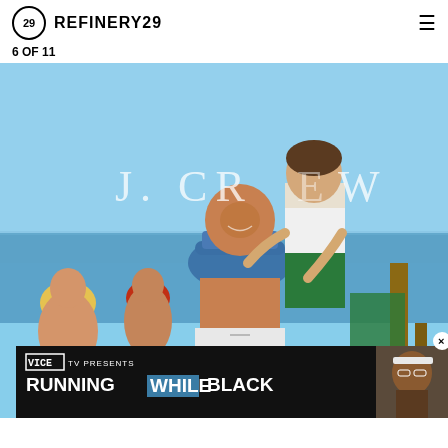Refinery29
6 OF 11
[Figure (photo): J.Crew catalog photo showing young people at a beach/water setting, smiling. A man gives a woman a piggyback ride, with others in the background wearing colorful hats. The J.CREW logo is visible in white text overlay.]
[Figure (infographic): VICE TV advertisement overlay at the bottom of the image. Text reads: VICE TV PRESENTS / RUNNING WHILE BLACK. Shows a thumbnail of a Black woman on the right side. Close (X) button visible.]